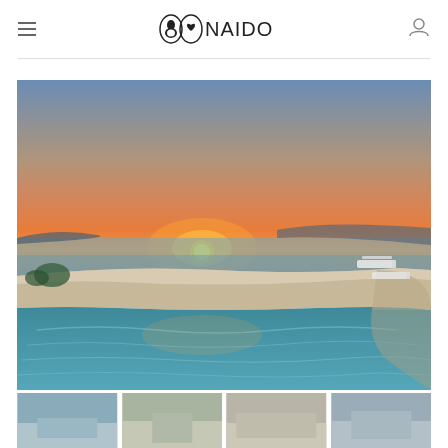OONAIDO
[Figure (photo): Infinity pool at sunset overlooking the sea, with lounge chairs visible on the right edge. The sky transitions from deep blue at top to warm orange near the horizon where the sun is setting.]
[Figure (photo): Thumbnail 1 - partial view of a property or beach scene]
[Figure (photo): Thumbnail 2 - partial view of a property scene]
[Figure (photo): Thumbnail 3 - partial view of a property scene]
[Figure (photo): Thumbnail 4 - partial view of a property scene]